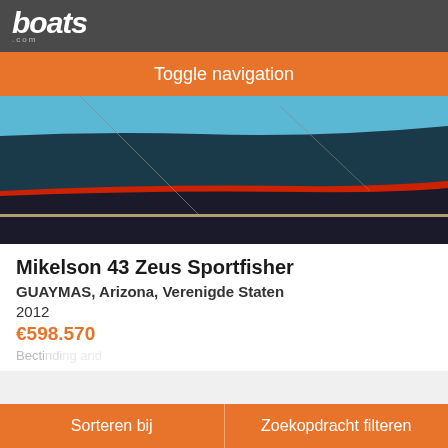boats .com
Toggle navigation
[Figure (photo): Close-up of a boat hull showing red and dark stripes near a dock, top portion of boat listing image]
Mikelson 43 Zeus Sportfisher
GUAYMAS, Arizona, Verenigde Staten
2012
€598.570
[Figure (photo): Partial view of a motor yacht on blue water with sky background, showing 85 photos and 1 video badges]
Sorteren bij
Zoekopdracht filteren